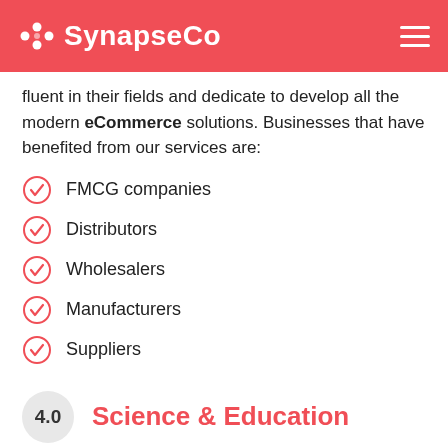SynapseCo
fluent in their fields and dedicate to develop all the modern eCommerce solutions. Businesses that have benefited from our services are:
FMCG companies
Distributors
Wholesalers
Manufacturers
Suppliers
4.0  Science & Education
Wide variety of e-learning software and other solutions are